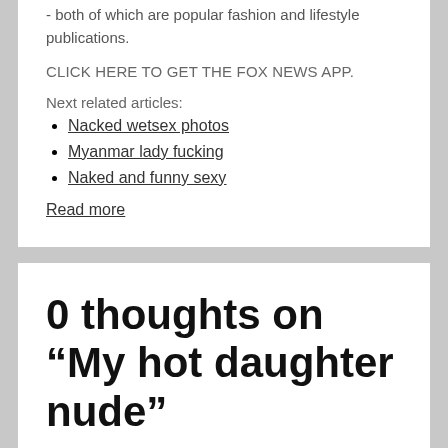- both of which are popular fashion and lifestyle publications.
CLICK HERE TO GET THE FOX NEWS APP.
Next related articles:
Nacked wetsex photos
Myanmar lady fucking
Naked and funny sexy
Read more
0 thoughts on “My hot daughter nude”
[Figure (photo): Two partial head/face photos visible at bottom corners with a red register now button text in center]